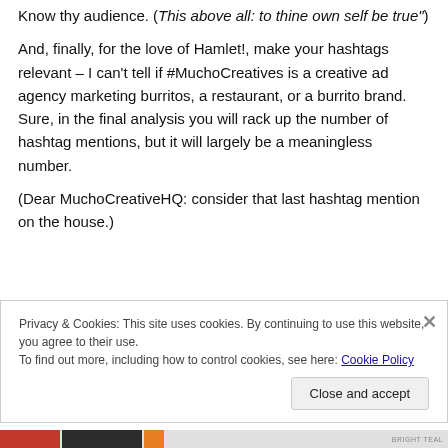Know thy audience. ("This above all: to thine own self be true")
And, finally, for the love of Hamlet!, make your hashtags relevant – I can't tell if #MuchoCreatives is a creative ad agency marketing burritos, a restaurant, or a burrito brand. Sure, in the final analysis you will rack up the number of hashtag mentions, but it will largely be a meaningless number.
(Dear MuchoCreativeHQ: consider that last hashtag mention on the house.)
Privacy & Cookies: This site uses cookies. By continuing to use this website, you agree to their use.
To find out more, including how to control cookies, see here: Cookie Policy